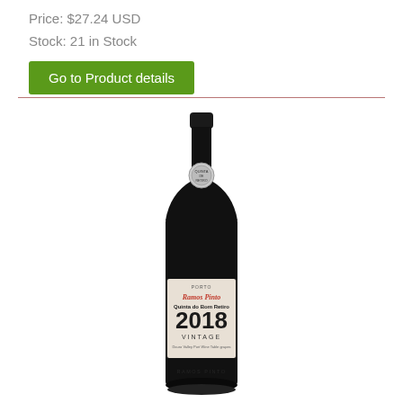Price: $27.24 USD
Stock: 21 in Stock
Go to Product details
[Figure (photo): Wine bottle: Ramos Pinto Quinta do Bom Retiro 2018 Vintage Port wine bottle with dark glass, foil cap, circular medallion seal, and label showing brand name in red cursive, Quinta do Bom Retiro in black, 2018 in large numerals, VINTAGE text below, and small text at bottom. RAMOS PINTO embossed on bottle lower section.]